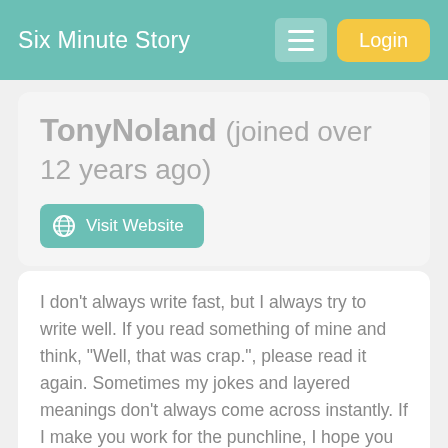Six Minute Story
TonyNoland (joined over 12 years ago)
Visit Website
I don't always write fast, but I always try to write well. If you read something of mine and think, "Well, that was crap.", please read it again. Sometimes my jokes and layered meanings don't always come across instantly. If I make you work for the punchline, I hope you realize that I wouldn't even set up the hurdle for you if I didn't think you were able to clear it.